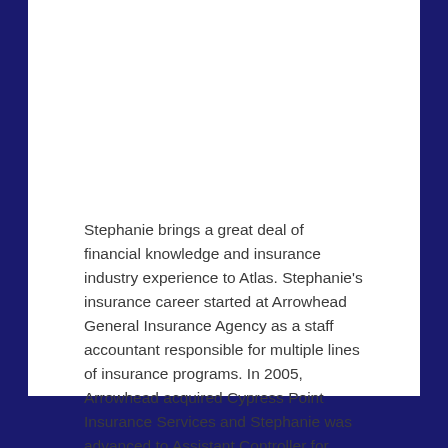Stephanie brings a great deal of financial knowledge and insurance industry experience to Atlas. Stephanie's insurance career started at Arrowhead General Insurance Agency as a staff accountant responsible for multiple lines of insurance programs. In 2005, Arrowhead acquired Cypress Point Insurance Services and Stephanie was advanced to Assistant Controller for Cypress Point. Cypress Point